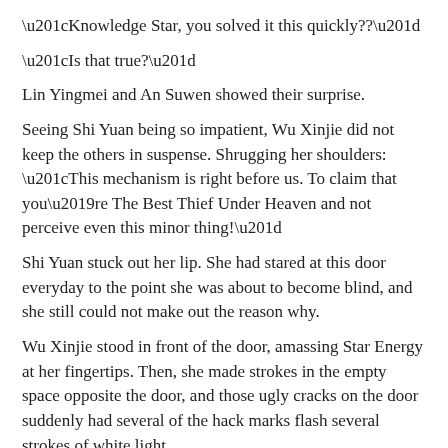“Knowledge Star, you solved it this quickly??”
“Is that true?”
Lin Yingmei and An Suwen showed their surprise.
Seeing Shi Yuan being so impatient, Wu Xinjie did not keep the others in suspense. Shrugging her shoulders: “This mechanism is right before us. To claim that you’re The Best Thief Under Heaven and not perceive even this minor thing!”
Shi Yuan stuck out her lip. She had stared at this door everyday to the point she was about to become blind, and she still could not make out the reason why.
Wu Xinjie stood in front of the door, amassing Star Energy at her fingertips. Then, she made strokes in the empty space opposite the door, and those ugly cracks on the door suddenly had several of the hack marks flash several strokes of white light.
“Hu???”